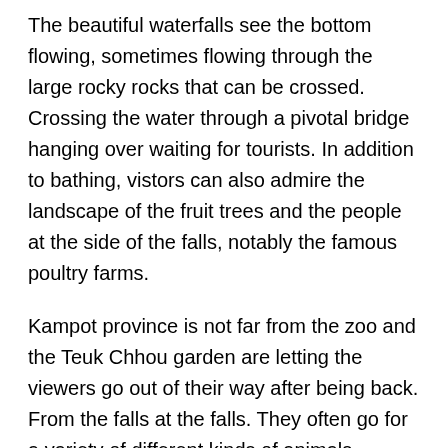The beautiful waterfalls see the bottom flowing, sometimes flowing through the large rocky rocks that can be crossed. Crossing the water through a pivotal bridge hanging over waiting for tourists. In addition to bathing, vistors can also admire the landscape of the fruit trees and the people at the side of the falls, notably the famous poultry farms.
Kampot province is not far from the zoo and the Teuk Chhou garden are letting the viewers go out of their way after being back. From the falls at the falls. They often go for a variety of different kinds of animals, including fresh fruits and vegetables, such as tuna, rambutan, and so on.
Kdard La Tente and Kdat Sanaka of Kampot